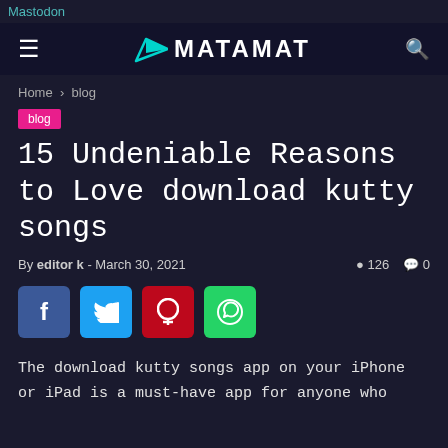Mastodon
[Figure (logo): Matamat website navigation bar with hamburger menu, Matamat logo with paper plane icon in teal, and search icon]
Home › blog
blog
15 Undeniable Reasons to Love download kutty songs
By editor k - March 30, 2021   ● 126   ● 0
[Figure (infographic): Social share buttons: Facebook (blue), Twitter (light blue), Pinterest (red), WhatsApp (green)]
The download kutty songs app on your iPhone or iPad is a must-have app for anyone who